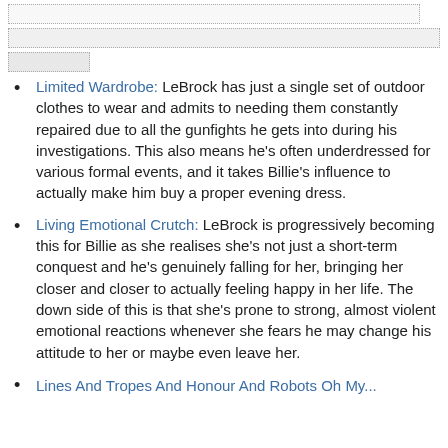[Figure (screenshot): UI chrome elements: three dotted-border bars representing browser/interface navigation elements at the top of the page]
Limited Wardrobe: LeBrock has just a single set of outdoor clothes to wear and admits to needing them constantly repaired due to all the gunfights he gets into during his investigations. This also means he's often underdressed for various formal events, and it takes Billie's influence to actually make him buy a proper evening dress.
Living Emotional Crutch: LeBrock is progressively becoming this for Billie as she realises she's not just a short-term conquest and he's genuinely falling for her, bringing her closer and closer to actually feeling happy in her life. The down side of this is that she's prone to strong, almost violent emotional reactions whenever she fears he may change his attitude to her or maybe even leave her.
Lines And Tropes And Honour And Robots Oh My...